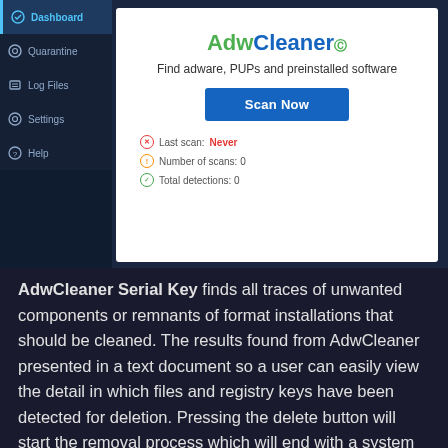[Figure (screenshot): AdwCleaner application screenshot showing the dashboard with sidebar (Dashboard, Quarantine, Log Files, Settings, Help) and main panel with AdwCleaner logo, tagline 'Find adware, PUPs and preinstalled software', a blue 'Scan Now' button, and status info: Last scan: Never, Number of scans: 0, Total detections: 0]
AdwCleaner Serial Key finds all traces of unwanted components or remnants of format installations that should be cleaned. The results found from AdwCleaner presented in a text document so a user can easily view the detail in which files and registry keys have been detected for deletion. Pressing the delete button will start the removal process which will end with a system restart. AdwCleaner Downloadneeds all running